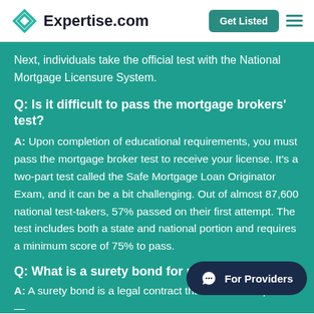Expertise.com
Next, individuals take the official test with the National Mortgage Licensure System.
Q: Is it difficult to pass the mortgage brokers' test?
A: Upon completion of educational requirements, you must pass the mortgage broker test to receive your license. It's a two-part test called the Safe Mortgage Loan Originator Exam, and it can be a bit challenging. Out of almost 87,600 national test-takers, 57% passed on their first attempt. The test includes both a state and national portion and requires a minimum score of 75% to pass.
Q: What is a surety bond for mortg…
A: A surety bond is a legal contract that binds three parties —